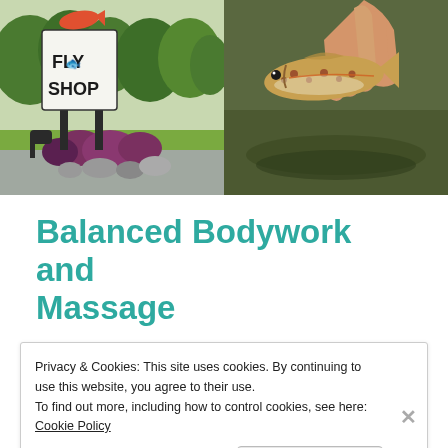[Figure (photo): Two side-by-side photos: left shows a 'Fly Shop' sign with a fish logo outdoors with trees and shrubs; right shows a hand holding a brown/rainbow trout over water.]
Balanced Bodywork and Massage
Privacy & Cookies: This site uses cookies. By continuing to use this website, you agree to their use.
To find out more, including how to control cookies, see here: Cookie Policy
Close and accept